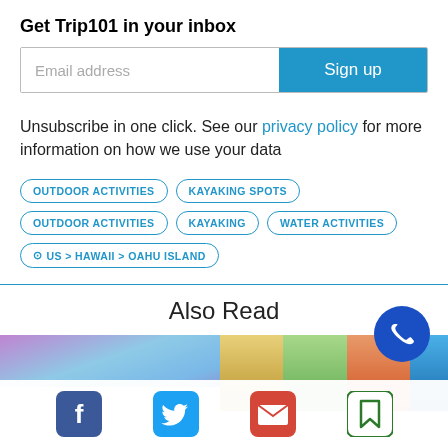Get Trip101 in your inbox
Email address
Sign up
Unsubscribe in one click. See our privacy policy for more information on how we use your data
OUTDOOR ACTIVITIES
KAYAKING SPOTS
OUTDOOR ACTIVITIES
KAYAKING
WATER ACTIVITIES
⊙ US > HAWAII > OAHU ISLAND
Also Read
[Figure (photo): Two travel article thumbnail images side by side at the bottom of the page]
[Figure (infographic): Social share icons bar: Facebook, Twitter, Email, Bookmark]